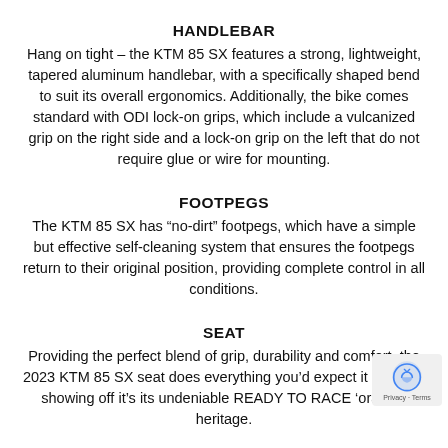HANDLEBAR
Hang on tight – the KTM 85 SX features a strong, lightweight, tapered aluminum handlebar, with a specifically shaped bend to suit its overall ergonomics. Additionally, the bike comes standard with ODI lock-on grips, which include a vulcanized grip on the right side and a lock-on grip on the left that do not require glue or wire for mounting.
FOOTPEGS
The KTM 85 SX has “no-dirt” footpegs, which have a simple but effective self-cleaning system that ensures the footpegs return to their original position, providing complete control in all conditions.
SEAT
Providing the perfect blend of grip, durability and comfort, the 2023 KTM 85 SX seat does everything you’d expect it to, while showing off it’s its undeniable READY TO RACE ‘orange’ heritage.